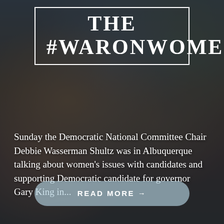THE #WARONWOMEN
Sunday the Democratic National Committee Chair Debbie Wasserman Shultz was in Albuquerque talking about women’s issues with candidates and supporting Democratic candidate for governor Gary King in...
READ MORE →